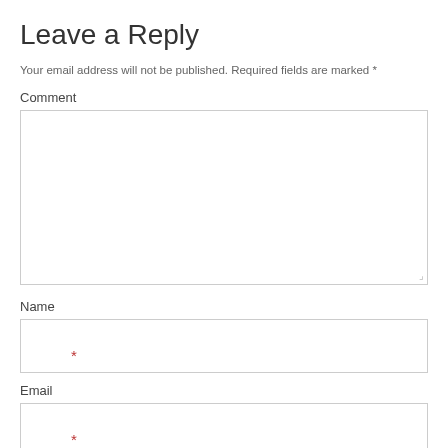Leave a Reply
Your email address will not be published. Required fields are marked *
Comment
[Figure (other): Large empty comment textarea with resize handle at bottom-right]
Name
[Figure (other): Name input field with red asterisk required marker]
Email
[Figure (other): Email input field with red asterisk required marker]